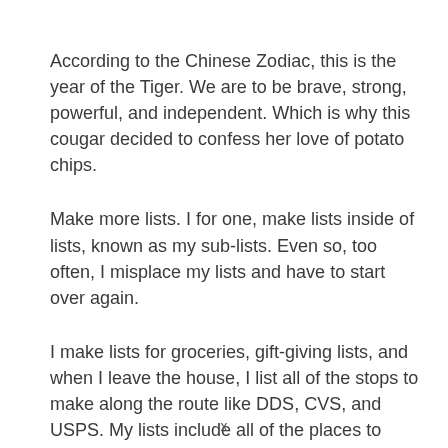According to the Chinese Zodiac, this is the year of the Tiger. We are to be brave, strong, powerful, and independent. Which is why this cougar decided to confess her love of potato chips.
Make more lists. I for one, make lists inside of lists, known as my sub-lists. Even so, too often, I misplace my lists and have to start over again.
I make lists for groceries, gift-giving lists, and when I leave the house, I list all of the stops to make along the route like DDS, CVS, and USPS. My lists include all of the places to shop, with separate lists for
x